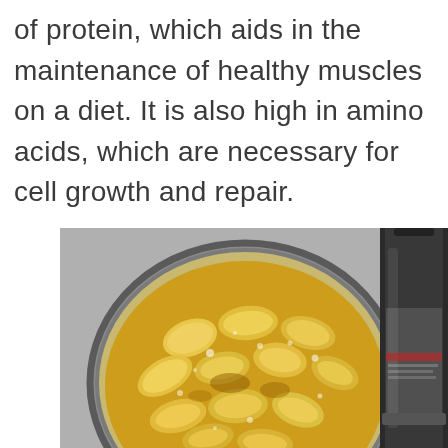of protein, which aids in the maintenance of healthy muscles on a diet. It is also high in amino acids, which are necessary for cell growth and repair.
[Figure (photo): A frying pan containing sliced potato wedges frying in hot bubbling oil, with a dark cylindrical cooking spray can visible to the right side.]